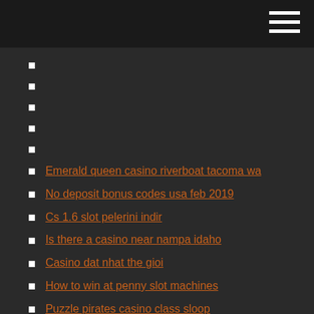Emerald queen casino riverboat tacoma wa
No deposit bonus codes usa feb 2019
Cs 1.6 slot pelerini indir
Is there a casino near nampa idaho
Casino dat nhat the gioi
How to win at penny slot machines
Puzzle pirates casino class sloop
50000 at 20 points gambling
Spin and go poker pro